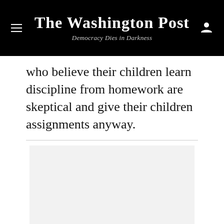The Washington Post — Democracy Dies in Darkness
who believe their children learn discipline from homework are skeptical and give their children assignments anyway.
[Figure (other): Advertisement placeholder box (gray rectangle)]